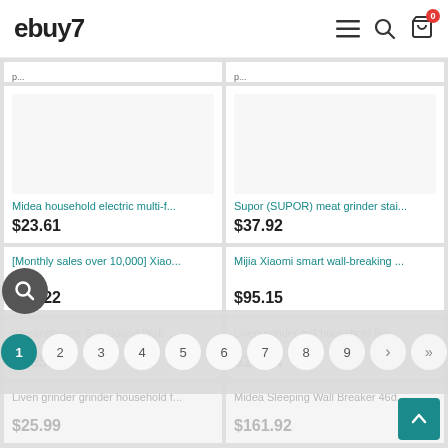ebuy7
[Figure (screenshot): Product listing page of ebuy7 e-commerce site showing product cards in a 2-column grid with prices]
Midea household electric multi-f...
$23.61
Supor (SUPOR) meat grinder stai...
$37.92
[Monthly sales over 10,000] Xiao...
$21.22
Mijia Xiaomi smart wall-breaking ...
$95.15
Westinghouse Soft Sound Wall...
$165.68
Liven grinder mill household foo...
$15.74
Liven grinder grinder household f...
$25.99
Midea Sleeping Wall Breaker 46d...
$161.92